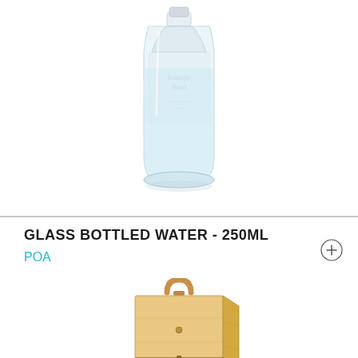[Figure (photo): Glass bottle of water with a silver/gray label showing 'Butterfly Hotel' branding, photographed on white background]
GLASS BOTTLED WATER - 250ML
POA
[Figure (photo): Wooden wine/bottle box with a leather loop handle on top, light pine wood construction, photographed on white background]